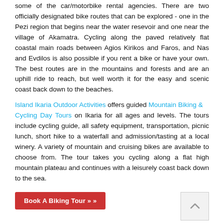some of the car/motorbike rental agencies. There are two officially designated bike routes that can be explored - one in the Pezi region that begins near the water resevoir and one near the village of Akamatra. Cycling along the paved relatively flat coastal main roads between Agios Kirikos and Faros, and Nas and Evdilos is also possible if you rent a bike or have your own. The best routes are in the mountains and forests and are an uphill ride to reach, but well worth it for the easy and scenic coast back down to the beaches.
Island Ikaria Outdoor Activities offers guided Mountain Biking & Cycling Day Tours on Ikaria for all ages and levels. The tours include cycling guide, all safety equipment, transportation, picnic lunch, short hike to a waterfall and admission/tasting at a local winery. A variety of mountain and cruising bikes are available to choose from. The tour takes you cycling along a flat high mountain plateau and continues with a leisurely coast back down to the sea.
Book A Biking Tour » »
Explore the cycling route highlighted on the map below or click on the other example routes.